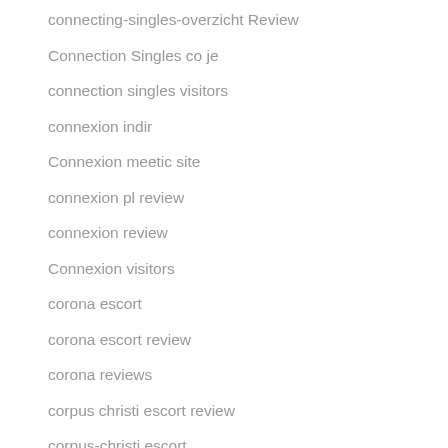connecting-singles-overzicht Review
Connection Singles co je
connection singles visitors
connexion indir
Connexion meetic site
connexion pl review
connexion review
Connexion visitors
corona escort
corona escort review
corona reviews
corpus christi escort review
corpus-christi escort
corpus-christi review
costa-rica-chat-rooms review